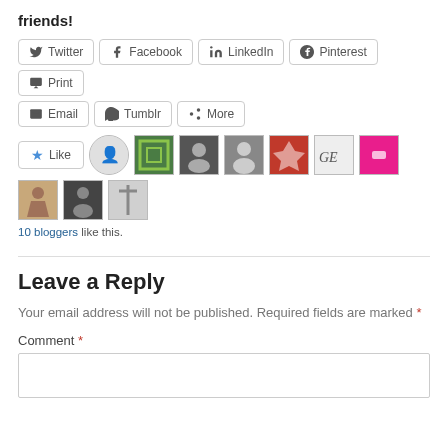friends!
[Figure (other): Social share buttons: Twitter, Facebook, LinkedIn, Pinterest, Print, Email, Tumblr, More]
[Figure (other): Like button with 10 blogger avatars shown]
10 bloggers like this.
Leave a Reply
Your email address will not be published. Required fields are marked *
Comment *
[Figure (other): Comment text area input box]